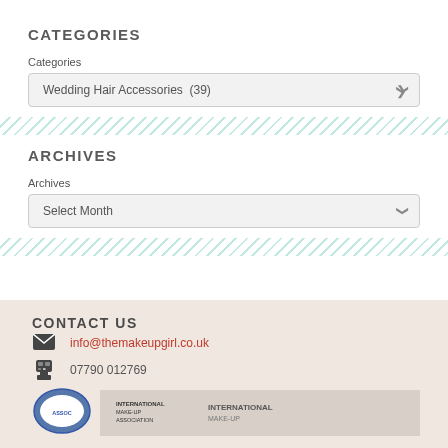CATEGORIES
Categories
Wedding Hair Accessories  (39)
[Figure (other): Diagonal teal/mint stripe divider pattern]
ARCHIVES
Archives
Select Month
[Figure (other): Diagonal teal/mint stripe divider pattern]
CONTACT US
info@themakeupgirl.co.uk
07790 012769
[Figure (logo): Round association logo badge (partial) and International Make-up Association logo (partial)]